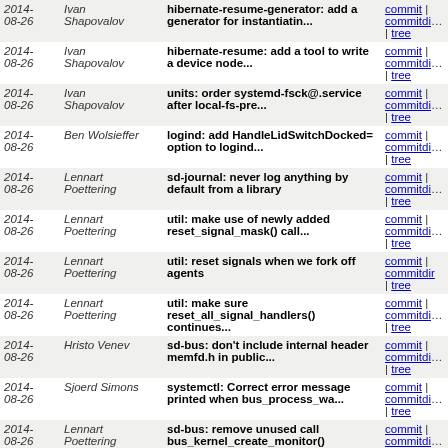| Date | Author | Commit Message | Links |
| --- | --- | --- | --- |
| 2014-08-26 | Ivan Shapovalov | hibernate-resume-generator: add a generator for instantiatin... | commit | commitdiff | tree |
| 2014-08-26 | Ivan Shapovalov | hibernate-resume: add a tool to write a device node... | commit | commitdiff | tree |
| 2014-08-26 | Ivan Shapovalov | units: order systemd-fsck@.service after local-fs-pre... | commit | commitdiff | tree |
| 2014-08-26 | Ben Wolsieffer | logind: add HandleLidSwitchDocked= option to logind... | commit | commitdiff | tree |
| 2014-08-26 | Lennart Poettering | sd-journal: never log anything by default from a library | commit | commitdiff | tree |
| 2014-08-26 | Lennart Poettering | util: make use of newly added reset_signal_mask() call... | commit | commitdiff | tree |
| 2014-08-26 | Lennart Poettering | util: reset signals when we fork off agents | commit | commitdiff | tree |
| 2014-08-26 | Lennart Poettering | util: make sure reset_all_signal_handlers() continues... | commit | commitdiff | tree |
| 2014-08-26 | Hristo Venev | sd-bus: don't include internal header memfd.h in public... | commit | commitdiff | tree |
| 2014-08-26 | Sjoerd Simons | systemctl: Correct error message printed when bus_process_wa... | commit | commitdiff | tree |
| 2014-08-26 | Lennart Poettering | sd-bus: remove unused call bus_kernel_create_monitor() | commit | commitdiff | tree |
| 2014-08-26 | Filipe Brandenburger | test-util: use assert_se() for call to safe_mkdir with... | commit | commitdiff | tree |
| 2014-08-26 | Filipe | test-path-util: use assert_se in all | commit | commitdiff |